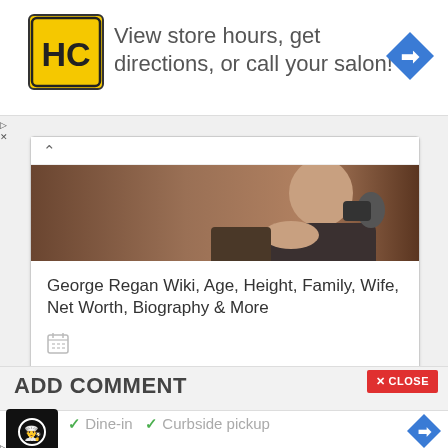[Figure (screenshot): Top advertisement banner for a salon/HC brand with yellow HC logo, text 'View store hours, get directions, or call your salon!' and a blue diamond navigation arrow icon]
[Figure (photo): Partial photo of a man in a suit talking on a phone, used as article thumbnail]
George Regan Wiki, Age, Height, Family, Wife, Net Worth, Biography & More
[Figure (screenshot): Calendar icon]
ADD COMMENT
[Figure (screenshot): Bottom advertisement banner with chef logo, dine-in and curbside pickup checkmarks, and blue diamond navigation arrow]
✓ Dine-in  ✓ Curbside pickup